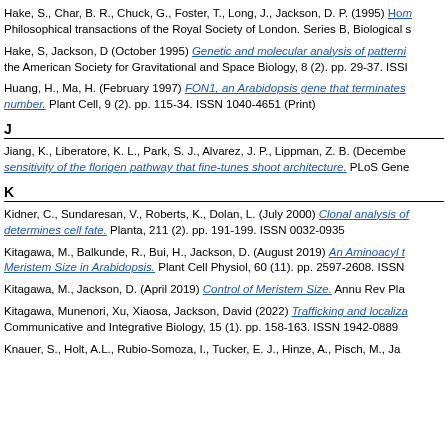Hake, S., Char, B. R., Chuck, G., Foster, T., Long, J., Jackson, D. P. (1995) Homeobox genes in the functioning of plant meristems. Philosophical transactions of the Royal Society of London. Series B, Biological sciences
Hake, S, Jackson, D (October 1995) Genetic and molecular analysis of patterning in the American Society for Gravitational and Space Biology, 8 (2). pp. 29-37. ISSN
Huang, H., Ma, H. (February 1997) FON1, an Arabidopsis gene that terminates floral meristem number. Plant Cell, 9 (2). pp. 115-34. ISSN 1040-4651 (Print)
J
Jiang, K., Liberatore, K. L., Park, S. J., Alvarez, J. P., Lippman, Z. B. (December) sensitivity of the florigen pathway that fine-tunes shoot architecture. PLoS Gene
K
Kidner, C., Sundaresan, V., Roberts, K., Dolan, L. (July 2000) Clonal analysis of meristem determines cell fate. Planta, 211 (2). pp. 191-199. ISSN 0032-0935
Kitagawa, M., Balkunde, R., Bui, H., Jackson, D. (August 2019) An Aminoacyl tRNA Synthetase Controls Meristem Size in Arabidopsis. Plant Cell Physiol, 60 (11). pp. 2597-2608. ISSN
Kitagawa, M., Jackson, D. (April 2019) Control of Meristem Size. Annu Rev Pla
Kitagawa, Munenori, Xu, Xiaosa, Jackson, David (2022) Trafficking and localization in plant meristems. Communicative and Integrative Biology, 15 (1). pp. 158-163. ISSN 1942-0889
Knauer, S., Holt, A.L., Rubio-Somoza, I., Tucker, E. J., Hinze, A., Pisch, M., Ja...